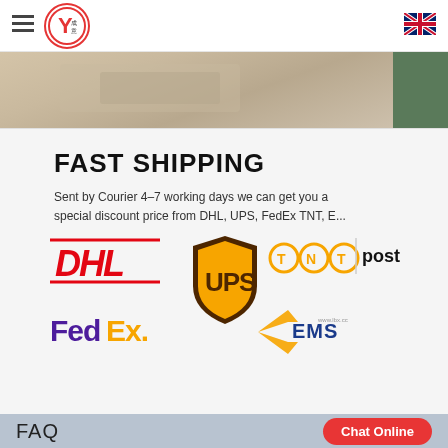Navigation header with logo and language flag
[Figure (photo): Product photo strip showing wrapped/packaged items in neutral tones, with green section on right]
FAST SHIPPING
Sent by Courier 4-7 working days we can get you a special discount price from DHL, UPS, FedEx TNT, E...
[Figure (logo): Shipping carrier logos: DHL (red italic), UPS (brown shield), TNT (orange circles), post, FedEx (purple/orange), EMS (blue/gold)]
FAQ
Chat Online